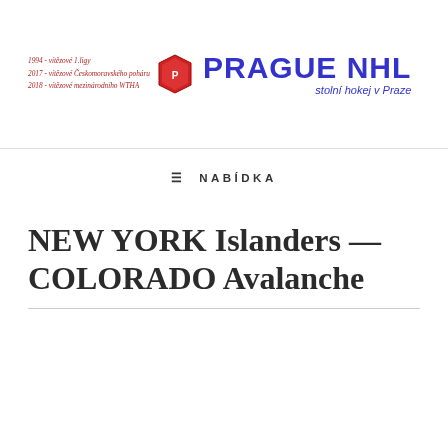1994 - vítězové 1.ligy
2017 - vítězové Českomoravského poháru
2018 - vítězové mezinárodního WTHA | PRAGUE NHL stolní hokej v Praze
≡  NABÍDKA
NEW YORK Islanders — COLORADO Avalanche
[Figure (logo): New York Islanders NHL team logo — blue and orange circle with NY letters and lobster/islander figure, partially visible at bottom of page]